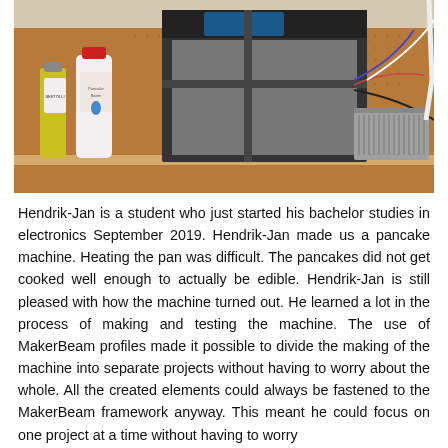[Figure (photo): A photo of a pancake machine made with MakerBeam profiles on a pegboard workbench. A bottle of oil (Bertolli) and a bottle of pancake batter are on the left. The metal-framed CNC-like machine is in the center. A gray power supply unit is on the right. Various wires and cables are visible.]
Hendrik-Jan is a student who just started his bachelor studies in electronics September 2019. Hendrik-Jan made us a pancake machine. Heating the pan was difficult. The pancakes did not get cooked well enough to actually be edible. Hendrik-Jan is still pleased with how the machine turned out. He learned a lot in the process of making and testing the machine. The use of MakerBeam profiles made it possible to divide the making of the machine into separate projects without having to worry about the whole. All the created elements could always be fastened to the MakerBeam framework anyway. This meant he could focus on one project at a time without having to worry